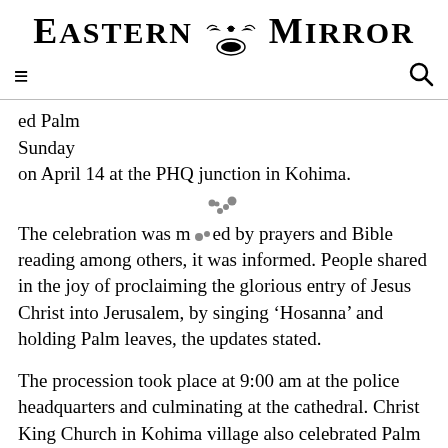Eastern Mirror
ed Palm Sunday on April 14 at the PHQ junction in Kohima.
The celebration was marked by prayers and Bible reading among others, it was informed. People shared in the joy of proclaiming the glorious entry of Jesus Christ into Jerusalem, by singing ‘Hosanna’ and holding Palm leaves, the updates stated.
The procession took place at 9:00 am at the police headquarters and culminating at the cathedral. Christ King Church in Kohima village also celebrated Palm Sunday on April. Fr. Paul, parish priest of Christ King parish at Kohima village, was